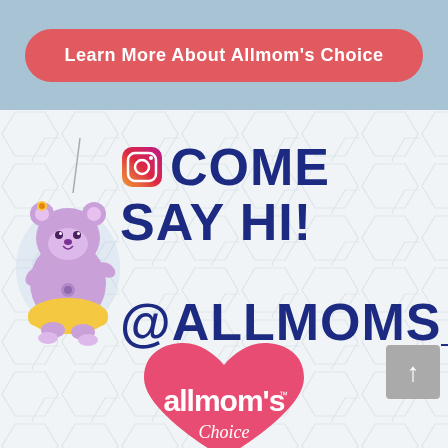Learn More About Allmom's Choice
[Figure (illustration): Cute purple bear character hanging from a string, wearing a yellow outfit with flower accessories]
COME SAY HI! @ALLMOMS_CH
[Figure (logo): Allmom's Choice logo inside a pink heart shape with 'allmom's Choice' text]